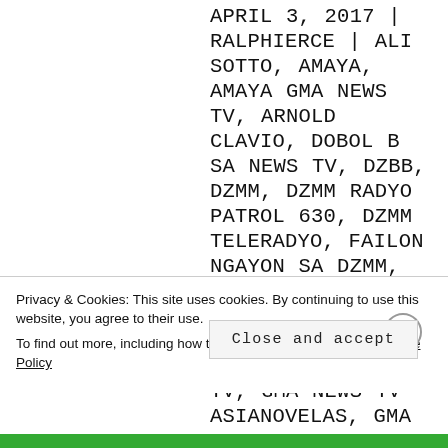APRIL 3, 2017 | RALPHIERCE | ALI SOTTO, AMAYA, AMAYA GMA NEWS TV, ARNOLD CLAVIO, DOBOL B SA NEWS TV, DZBB, DZMM, DZMM RADYO PATROL 630, DZMM TELERADYO, FAILON NGAYON SA DZMM, GMA, GMA NETWORK, GMA NEWS, GMA NEWS AND PUBLIC AFFAIRS, GMA NEWS TV, GMA NEWS TV ASIANOVELAS, GMA NEWS TV CONTROVERSIES, GMA NEWS TV CRITICISMS, GMA NEWS TV HOME SHOPPING BLOCKS, GMA NEWS TV ISSUES, GMA NEWS TV KOREANOVELAS, GMA NEWS TV MOVIES, GMA NEWS TV PROBLEMS, GMA NEWS TV PROGRAMMING CHANGES, GMA NEWS TV RERUN PROGRAMS, GMA NEWS TV RERUNS,
Privacy & Cookies: This site uses cookies. By continuing to use this website, you agree to their use. To find out more, including how to control cookies, see here: Cookie Policy
Close and accept